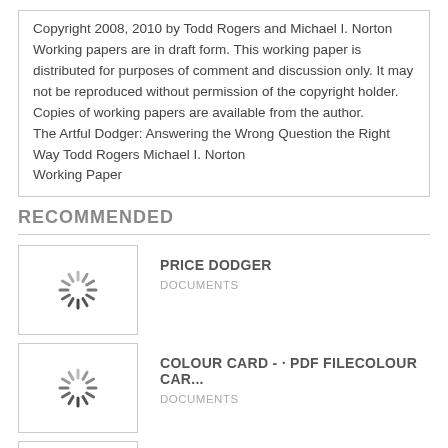Copyright 2008, 2010 by Todd Rogers and Michael I. Norton Working papers are in draft form. This working paper is distributed for purposes of comment and discussion only. It may not be reproduced without permission of the copyright holder. Copies of working papers are available from the author.
The Artful Dodger: Answering the Wrong Question the Right Way Todd Rogers Michael I. Norton
Working Paper
RECOMMENDED
[Figure (other): Loading spinner thumbnail for PRICE DODGER document]
PRICE DODGER
DOCUMENTS
[Figure (other): Loading spinner thumbnail for COLOUR CARD document]
COLOUR CARD - · PDF FILECOLOUR CAR...
DOCUMENTS
[Figure (other): Loading spinner thumbnail for third recommended document]